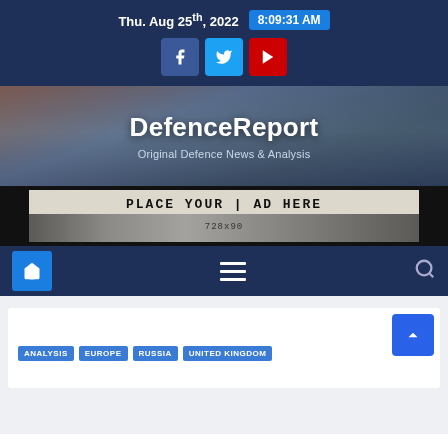Thu. Aug 25th, 2022  8:09:31 AM
DefenceReport
Original Defence News & Analysis
[Figure (screenshot): Advertisement banner showing 'PLACE YOUR AD HERE 728x90' with submarine image on dark background]
[Figure (screenshot): Navigation bar with home icon (blue button), hamburger menu icon, and search icon on dark navy background]
ANALYSIS  EUROPE  RUSSIA  UNITED KINGDOM